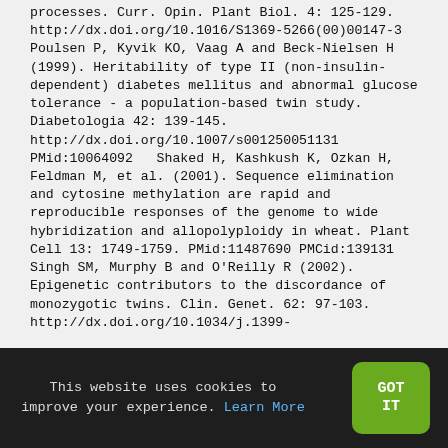processes. Curr. Opin. Plant Biol. 4: 125-129. http://dx.doi.org/10.1016/S1369-5266(00)00147-3   Poulsen P, Kyvik KO, Vaag A and Beck-Nielsen H (1999). Heritability of type II (non-insulin-dependent) diabetes mellitus and abnormal glucose tolerance - a population-based twin study. Diabetologia 42: 139-145. http://dx.doi.org/10.1007/s001250051131 PMid:10064092   Shaked H, Kashkush K, Ozkan H, Feldman M, et al. (2001). Sequence elimination and cytosine methylation are rapid and reproducible responses of the genome to wide hybridization and allopolyploidy in wheat. Plant Cell 13: 1749-1759. PMid:11487690 PMCid:139131   Singh SM, Murphy B and O'Reilly R (2002). Epigenetic contributors to the discordance of monozygotic twins. Clin. Genet. 62: 97-103. http://dx.doi.org/10.1034/j.1399-
This website uses cookies to improve your experience. Learn More